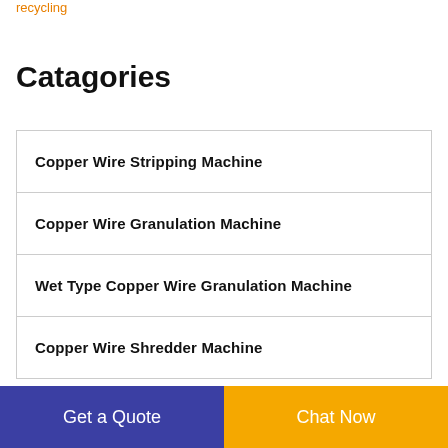recycling
Catagories
Copper Wire Stripping Machine
Copper Wire Granulation Machine
Wet Type Copper Wire Granulation Machine
Copper Wire Shredder Machine
Get a Quote  Chat Now